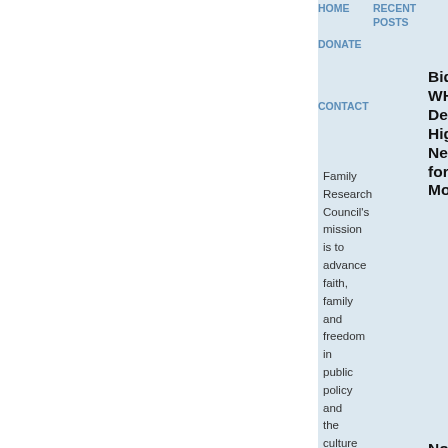HOME  RECENT POSTS  DONATE  CONTACT
Family Research Council's mission is to advance faith, family and freedom in public policy and the culture from a Christi...
Biden's WHO Debacle Highlights Need for More Transparency
No Community for Thee: Nancy Pelosi, Abortion and Pastoral Care
Pensacola Abortion Business Closed